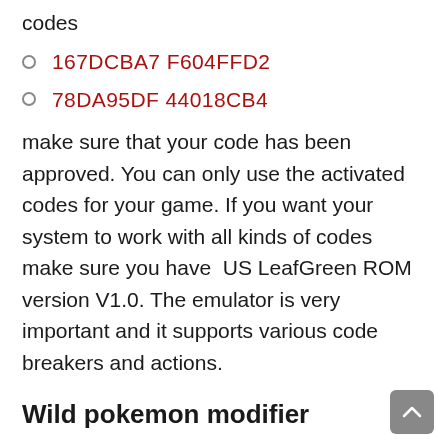codes
167DCBA7 F604FFD2
78DA95DF 44018CB4
make sure that your code has been approved. You can only use the activated codes for your game. If you want your system to work with all kinds of codes make sure you have  US LeafGreen ROM version V1.0. The emulator is very important and it supports various code breakers and actions.
Wild pokemon modifier
This code is used